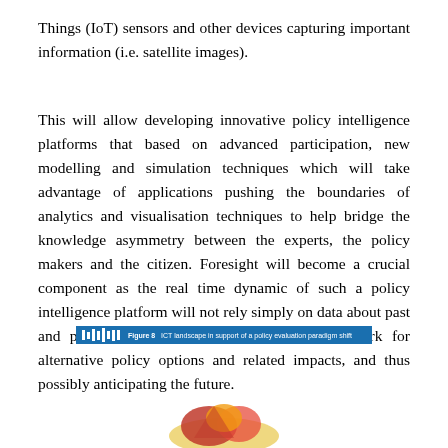Things (IoT) sensors and other devices capturing important information (i.e. satellite images).
This will allow developing innovative policy intelligence platforms that based on advanced participation, new modelling and simulation techniques which will take advantage of applications pushing the boundaries of analytics and visualisation techniques to help bridge the knowledge asymmetry between the experts, the policy makers and the citizen. Foresight will become a crucial component as the real time dynamic of such a policy intelligence platform will not rely simply on data about past and present facts, but will provide the framework for alternative policy options and related impacts, and thus possibly anticipating the future.
Figure 8   ICT landscape in support of a policy evaluation paradigm shift
[Figure (illustration): Partial image visible at bottom of page, appears to show a colorful illustration or graphic]